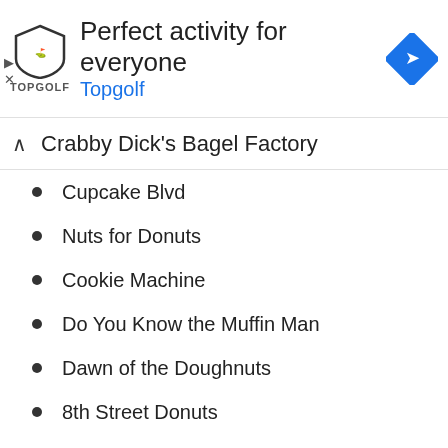[Figure (other): Topgolf advertisement banner with shield logo, headline 'Perfect activity for everyone', sublink 'Topgolf', and blue navigation icon]
Crabby Dick's Bagel Factory
Cupcake Blvd
Nuts for Donuts
Cookie Machine
Do You Know the Muffin Man
Dawn of the Doughnuts
8th Street Donuts
Nature Fresh
Sweet Cheeks Cakes
Donut Baby
Pro Cakes
Bread Bazar